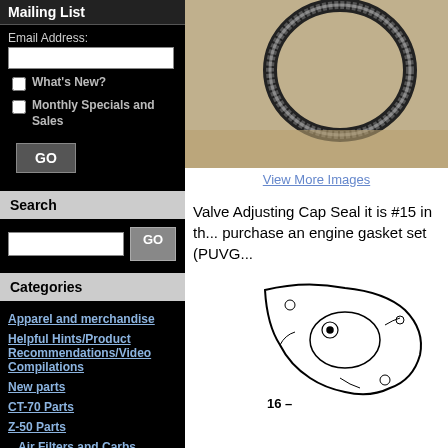Mailing List
Email Address:
What's New?
Monthly Specials and Sales
Search
Categories
Apparel and merchandise
Helpful Hints/Product Recommendations/Video Compilations
New parts
CT-70 Parts
Z-50 Parts
Air Filters and Carbs
Bike Accessories
Brakes and Accessories
[Figure (photo): Product photo of valve adjusting cap seal, O-ring shown on tan background]
View More Images
Valve Adjusting Cap Seal it is #15 in th... purchase an engine gasket set (PUVG...
[Figure (engineering-diagram): Engine part diagram showing valve adjusting cap area, labeled 16-]